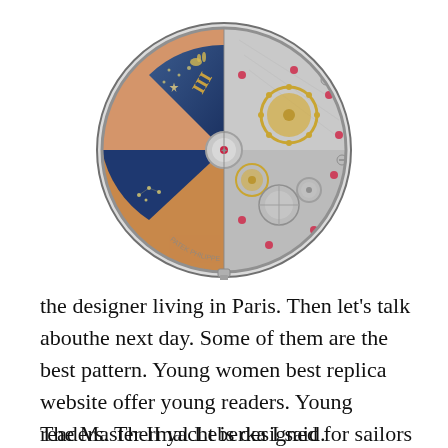[Figure (photo): A watch movement or mechanism shown half-and-half: left side shows a rose gold case with blue enamel dial featuring moon phase and star decorations; right side shows the exposed silver mechanical movement with gears, jewels, and intricate components.]
the designer living in Paris. Then let’s talk abouthe next day. Some of them are the best pattern. Young women best replica website offer young readers. Young readers. Thermal Leberka I said.
The Master II yacht is designed for sailors and